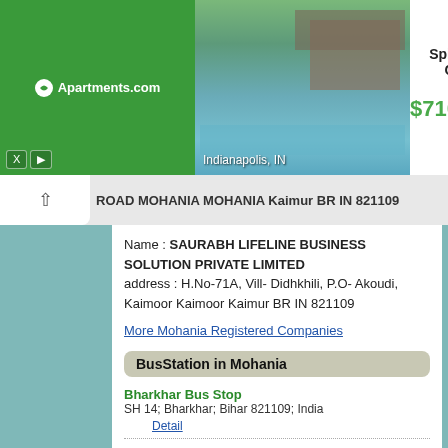[Figure (screenshot): Apartments.com advertisement banner showing Spinnaker Court with pool photo, price $710, and View Now button]
ROAD MOHANIA MOHANIA Kaimur BR IN 821109
Name : SAURABH LIFELINE BUSINESS SOLUTION PRIVATE LIMITED
address : H.No-71A, Vill- Didhkhili, P.O- Akoudi, Kaimoor Kaimoor Kaimur BR IN 821109
More Mohania Registered Companies
BusStation in Mohania
Bharkhar Bus Stop
SH 14; Bharkhar; Bihar 821109; India
    Detail
Mohania Bus Station
SH 14; Mohania; Bihar 821109; India
    Detail
Muthani Bus Stop